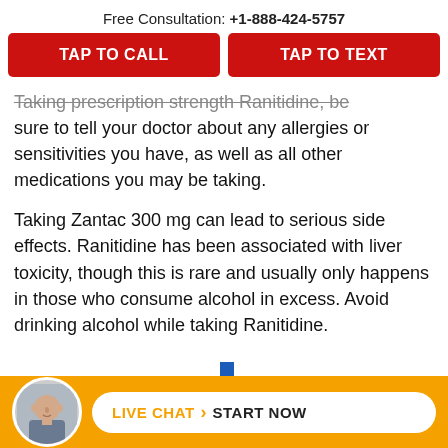Free Consultation: +1-888-424-5757
[Figure (infographic): Two red buttons side by side: 'TAP TO CALL' and 'TAP TO TEXT']
Taking prescription strength Ranitidine, be sure to tell your doctor about any allergies or sensitivities you have, as well as all other medications you may be taking.
Taking Zantac 300 mg can lead to serious side effects. Ranitidine has been associated with liver toxicity, though this is rare and usually only happens in those who consume alcohol in excess. Avoid drinking alcohol while taking Ranitidine.
[Figure (infographic): Orange footer bar with avatar photo of a bald man and a white pill-shaped chat button reading 'LIVE CHAT > START NOW']